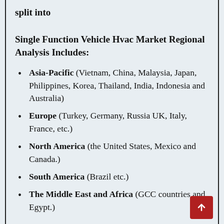split into
Single Function Vehicle Hvac Market Regional Analysis Includes:
Asia-Pacific (Vietnam, China, Malaysia, Japan, Philippines, Korea, Thailand, India, Indonesia and Australia)
Europe (Turkey, Germany, Russia UK, Italy, France, etc.)
North America (the United States, Mexico and Canada.)
South America (Brazil etc.)
The Middle East and Africa (GCC countries and Egypt.)